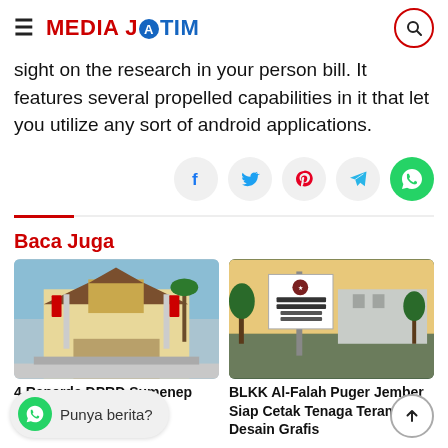MEDIA JATIM
sight on the research in your person bill. It features several propelled capabilities in it that let you utilize any sort of android applications.
[Figure (other): Social share buttons: Facebook, Twitter, Pinterest, Telegram, WhatsApp]
Baca Juga
[Figure (photo): Photo of a government building with red decorative flags, trees, and a gate in front.]
4 Raperda DPRD Sumenep
[Figure (photo): Photo of outdoor signboard for BLKK Al-Falah Puger with trees and building in background.]
BLKK Al-Falah Puger Jember Siap Cetak Tenaga Terampil Desain Grafis